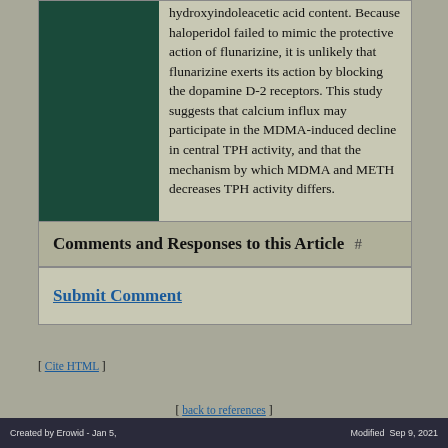[Figure (other): Dark green rectangular block on the left column of the article layout]
hydroxyindoleacetic acid content. Because haloperidol failed to mimic the protective action of flunarizine, it is unlikely that flunarizine exerts its action by blocking the dopamine D-2 receptors. This study suggests that calcium influx may participate in the MDMA-induced decline in central TPH activity, and that the mechanism by which MDMA and METH decreases TPH activity differs.
Comments and Responses to this Article #
Submit Comment
[ Cite HTML ]
[ back to references ]
Created by Erowid - Jan 5,    Modified  Sep 9, 2021